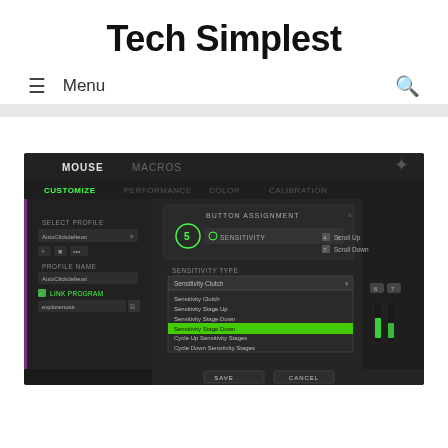Tech Simplest
≡  Menu
[Figure (screenshot): Razer Synapse mouse configuration software screenshot showing Button Assignment dialog with Sensitivity Type dropdown open, options including Sensitivity Clutch, Sensitivity Stage Up, Sensitivity Stage Down, one highlighted in green, Cycle Up Sensitivity Stages, Cycle Down Sensitivity Stages. Left panel shows Select Profile (AutoClickdefeust), Profile Name, Link Program. Right side shows Scroll Up and Scroll Down buttons and green light indicators. Bottom has SAVE and CANCEL buttons.]